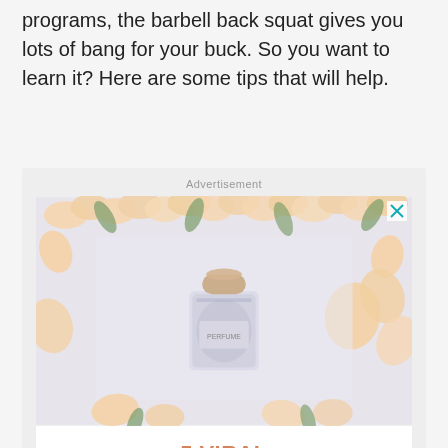programs, the barbell back squat gives you lots of bang for your buck. So you want to learn it? Here are some tips that will help.
[Figure (advertisement): Advertisement block showing a perfume bottle surrounded by flowers, with text '5 VIRAL PERFUMES THAT YOU SHOULD GET']